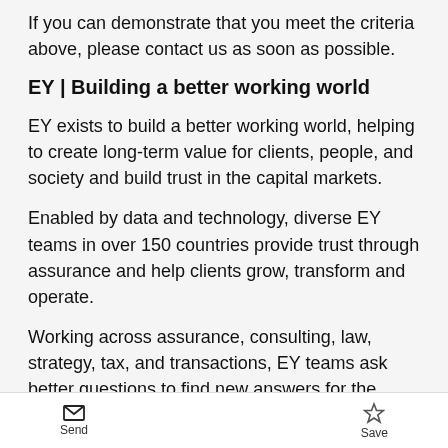If you can demonstrate that you meet the criteria above, please contact us as soon as possible.
EY | Building a better working world
EY exists to build a better working world, helping to create long-term value for clients, people, and society and build trust in the capital markets.
Enabled by data and technology, diverse EY teams in over 150 countries provide trust through assurance and help clients grow, transform and operate.
Working across assurance, consulting, law, strategy, tax, and transactions, EY teams ask better questions to find new answers for the complex issues facing our world today.
For further information, and to apply, please visit our
Send   Save